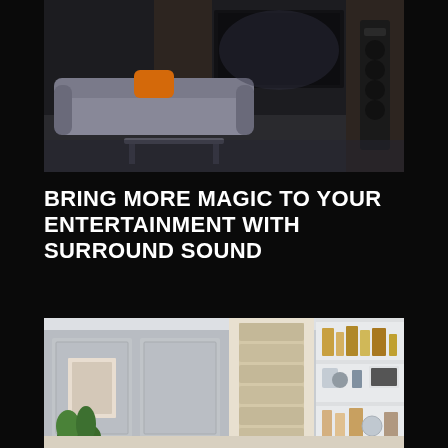[Figure (photo): Dark home theater room with large gray sofa, orange pillow, big screen TV, and tall floor-standing speakers on the right side]
BRING MORE MAGIC TO YOUR ENTERTAINMENT WITH SURROUND SOUND
Integrate 3D audio and Dolby Atmos technology, and enjoy entertainment to the fullest! Sound is a crucial element of your entertainment experience. With the right
Read More »
[Figure (photo): Bright living room interior with white built-in bookshelves, roman shades on windows, artwork on wall, and green plant in corner]